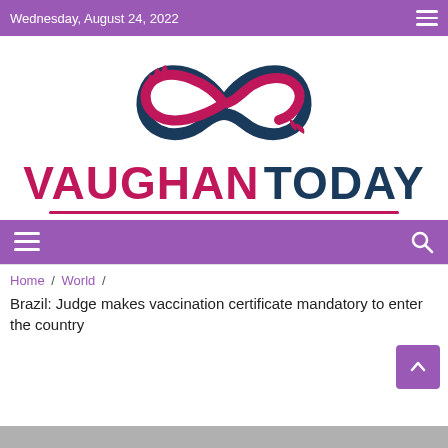Wednesday, August 24, 2022
[Figure (logo): Vaughan Today logo with infinity symbol made of two hands, pink and dark blue, above bold text VAUGHAN TODAY with a pink underline]
Navigation bar with hamburger menu and search icon
Home / World /
Brazil: Judge makes vaccination certificate mandatory to enter the country